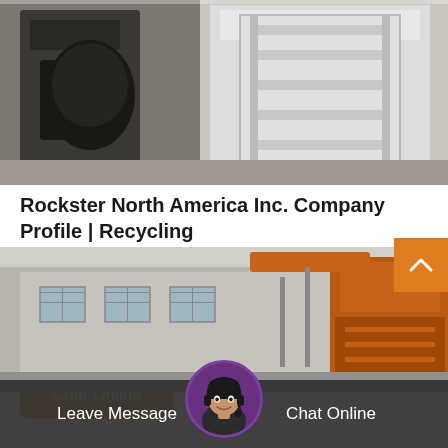[Figure (photo): Top image showing industrial equipment - a mobile crushing machine with black and white metal components on a concrete surface]
Rockster North America Inc. Company Profile | Recycling
The mobile crushing plants of Rockster guarantee profitable recycling of asphalt, concrete and demolition rubble as well as natural stone. The latest model in the...
[Figure (other): Chat Online button - orange rounded rectangle]
[Figure (photo): Bottom image showing a factory building with orange industrial crushing equipment]
[Figure (screenshot): Bottom navigation bar with Leave Message on left, customer service avatar in center, Chat Online on right]